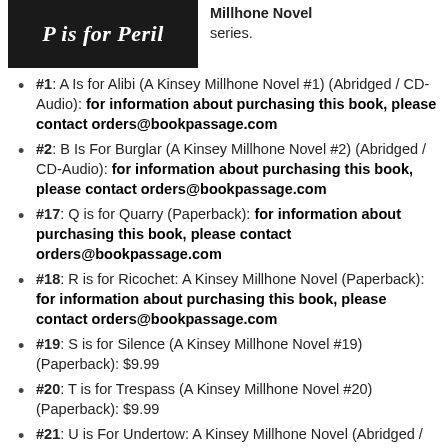[Figure (illustration): Book cover for 'P is for Peril' with dark background and white italic serif text]
Millhone Novel series.
#1: A Is for Alibi (A Kinsey Millhone Novel #1) (Abridged / CD-Audio): for information about purchasing this book, please contact orders@bookpassage.com
#2: B Is For Burglar (A Kinsey Millhone Novel #2) (Abridged / CD-Audio): for information about purchasing this book, please contact orders@bookpassage.com
#17: Q is for Quarry (Paperback): for information about purchasing this book, please contact orders@bookpassage.com
#18: R is for Ricochet: A Kinsey Millhone Novel (Paperback): for information about purchasing this book, please contact orders@bookpassage.com
#19: S is for Silence (A Kinsey Millhone Novel #19) (Paperback): $9.99
#20: T is for Trespass (A Kinsey Millhone Novel #20) (Paperback): $9.99
#21: U is For Undertow: A Kinsey Millhone Novel (Abridged / CD-Audio): for information about purchasing this book, please contact orders@bookpassage.com